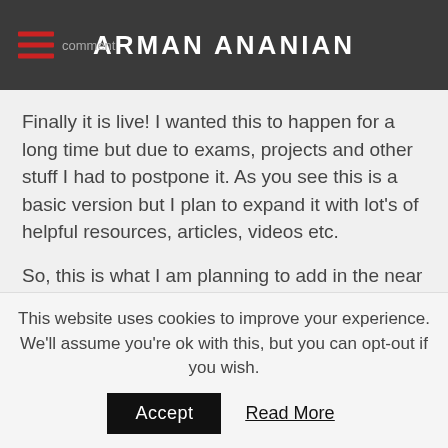ARMAN ANANIAN
Finally it is live! I wanted this to happen for a long time but due to exams, projects and other stuff I had to postpone it. As you see this is a basic version but I plan to expand it with lot's of helpful resources, articles, videos etc.
So, this is what I am planning to add in the near future:
Most helpful books for me in a ranking method
Tools I use for my business
Podcast section
Articles on apps and ideas
This website uses cookies to improve your experience. We'll assume you're ok with this, but you can opt-out if you wish.